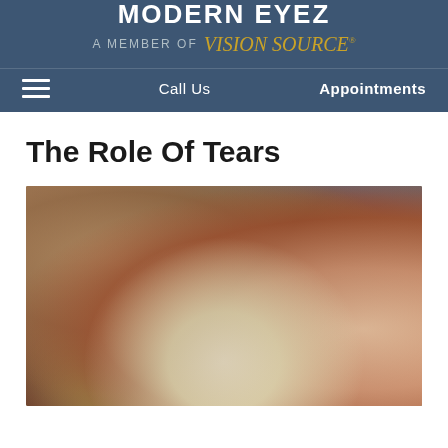MODERN EYEZ — A MEMBER OF Vision Source
≡   Call Us   Appointments
The Role Of Tears
[Figure (photo): Close-up photo of a hand cutting or peeling an onion, with colorful blurred objects in the background including what appears to be red and yellow produce.]